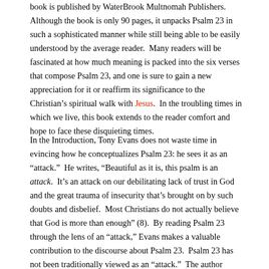book is published by WaterBrook Multnomah Publishers. Although the book is only 90 pages, it unpacks Psalm 23 in such a sophisticated manner while still being able to be easily understood by the average reader.  Many readers will be fascinated at how much meaning is packed into the six verses that compose Psalm 23, and one is sure to gain a new appreciation for it or reaffirm its significance to the Christian's spiritual walk with Jesus.  In the troubling times in which we live, this book extends to the reader comfort and hope to face these disquieting times.
In the Introduction, Tony Evans does not waste time in evincing how he conceptualizes Psalm 23: he sees it as an “attack.”  He writes, “Beautiful as it is, this psalm is an attack.  It's an attack on our debilitating lack of trust in God and the great trauma of insecurity that's brought on by such doubts and disbelief.  Most Christians do not actually believe that God is more than enough” (8).  By reading Psalm 23 through the lens of an “attack,” Evans makes a valuable contribution to the discourse about Psalm 23.  Psalm 23 has not been traditionally viewed as an “attack.”  The author contends that the psalm had to be penned to respond to our proclivity to look for our